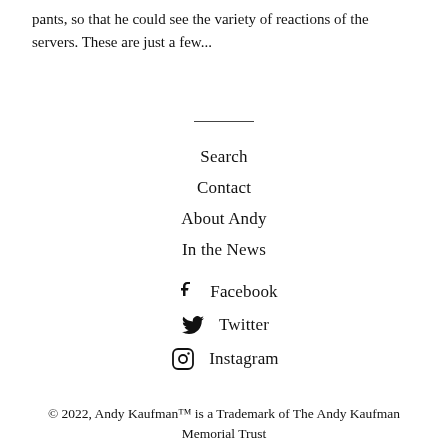pants, so that he could see the variety of reactions of the servers. These are just a few...
Search
Contact
About Andy
In the News
Facebook
Twitter
Instagram
© 2022, Andy Kaufman™ is a Trademark of The Andy Kaufman Memorial Trust